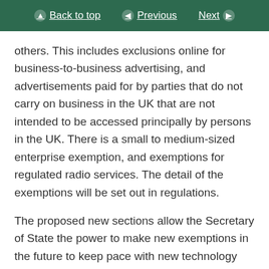Back to top | Previous | Next
others. This includes exclusions online for business-to-business advertising, and advertisements paid for by parties that do not carry on business in the UK that are not intended to be accessed principally by persons in the UK. There is a small to medium-sized enterprise exemption, and exemptions for regulated radio services. The detail of the exemptions will be set out in regulations.
The proposed new sections allow the Secretary of State the power to make new exemptions in the future to keep pace with new technology and, crucially, where the evidence suggests exemptions are needed. In the first instance, we intend to use this power to exempt audio-only content from the online restriction. The Government have taken care